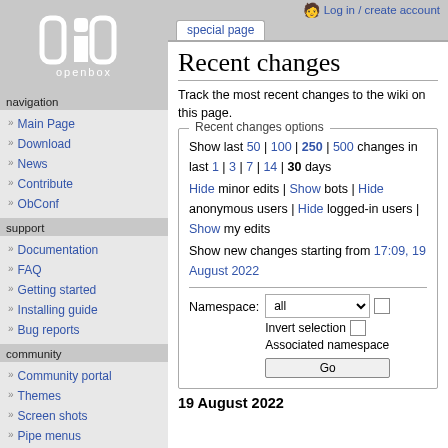Log in / create account
[Figure (logo): Openbox logo: stylized '03b' text in white on gray background with 'openbox' text below]
navigation
Main Page
Download
News
Contribute
ObConf
support
Documentation
FAQ
Getting started
Installing guide
Bug reports
community
Community portal
Themes
Screen shots
Pipe menus
wiki
Recent changes
Track the most recent changes to the wiki on this page.
Recent changes options
Show last 50 | 100 | 250 | 500 changes in last 1 | 3 | 7 | 14 | 30 days
Hide minor edits | Show bots | Hide anonymous users | Hide logged-in users | Show my edits
Show new changes starting from 17:09, 19 August 2022
19 August 2022